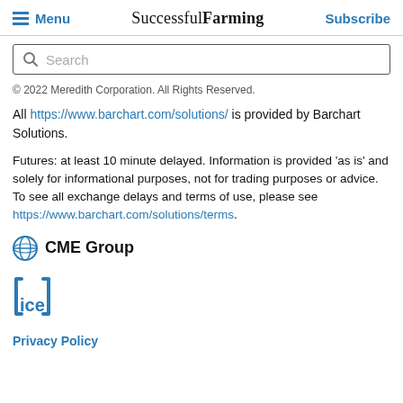Menu  Successful Farming  Subscribe
Search
© 2022 Meredith Corporation. All Rights Reserved.
All https://www.barchart.com/solutions/ is provided by Barchart Solutions.
Futures: at least 10 minute delayed. Information is provided 'as is' and solely for informational purposes, not for trading purposes or advice. To see all exchange delays and terms of use, please see https://www.barchart.com/solutions/terms.
[Figure (logo): CME Group logo with globe icon]
[Figure (logo): ICE (Intercontinental Exchange) logo with bracket-style icon]
Privacy Policy